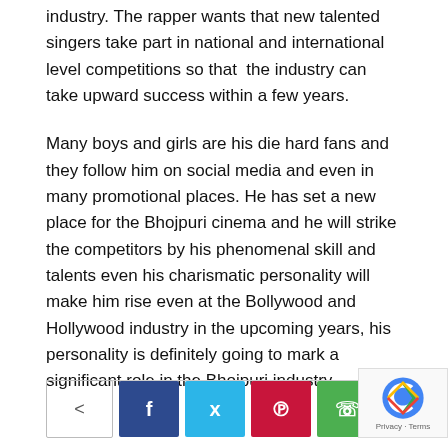industry. The rapper wants that new talented singers take part in national and international level competitions so that  the industry can take upward success within a few years.
Many boys and girls are his die hard fans and they follow him on social media and even in many promotional places. He has set a new place for the Bhojpuri cinema and he will strike the competitors by his phenomenal skill and talents even his charismatic personality will make him rise even at the Bollywood and Hollywood industry in the upcoming years, his personality is definitely going to mark a significant role in the Bhojpuri industry.